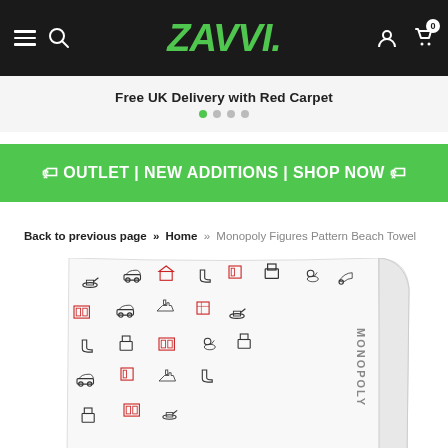ZAVVI. [navigation bar with hamburger, search, user, cart icons]
Free UK Delivery with Red Carpet
🏷 OUTLET | NEW ADDITIONS | SHOP NOW 🏷
Back to previous page » Home » Monopoly Figures Pattern Beach Towel
[Figure (photo): Monopoly Figures Pattern Beach Towel product image showing a white towel with red and black Monopoly game piece icons pattern printed on it, with MONOPOLY text visible on the edge.]